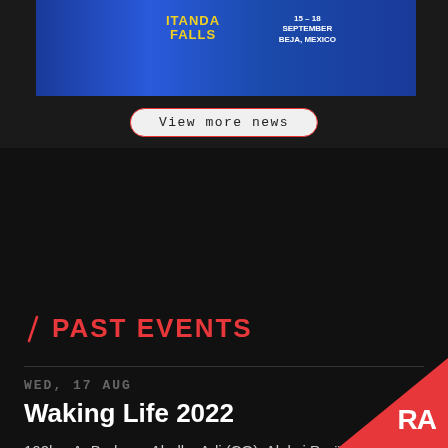[Figure (illustration): Itanda Falls festival banner with colorful artwork, DJ figure with headphones, blue background, text: ITANDA FALLS, 15-18 SEPTEMBER]
View more news
PAST EVENTS
WED, 17 AUG
Waking Life 2022
100hz, A. Brehme, Abelle, Adi (CO), Aleksi Perälä, Alex Downey, Amir Alexander, Analog Soul, Andr...
Other regions  Crato  134
TUE, 16 AUG
Absurd Lustre: Midsommar
E/Tape, Dr.Neicks, Abu, Ca, Ra...